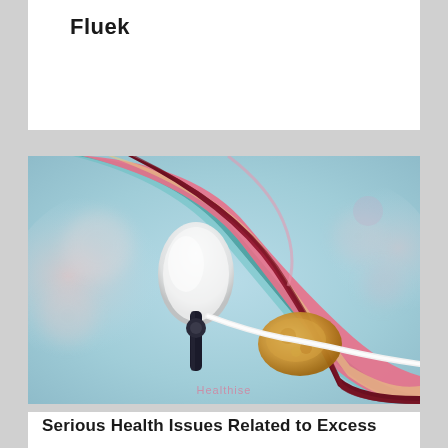Fluek
[Figure (illustration): Medical illustration showing a cross-section of a blood vessel or artery with a medical device/catheter inserted, depicting plaque or blockage removal. The image shows layered vessel walls in pink and gold tones with a white cylindrical device and dark catheter components. Watermark reads 'Healthise' in pink text at the bottom center.]
Serious Health Issues Related to Excess